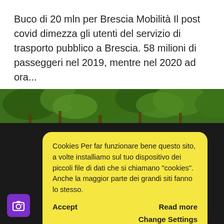Buco di 20 mln per Brescia Mobilità Il post covid dimezza gli utenti del servizio di trasporto pubblico a Brescia. 58 milioni di passeggeri nel 2019, mentre nel 2020 ad ora...
[Figure (photo): A webpage screenshot showing a nature/trees photo partially visible at top, overlaid with a dark background and a yellow cookie consent dialog box with Accept, Read more, and Change Settings buttons. A purple camera icon button appears at the bottom left.]
Cookies Per far funzionare bene questo sito, a volte installiamo sul tuo dispositivo dei piccoli file di dati che si chiamano "cookies". Anche la maggior parte dei grandi siti fanno lo stesso.
Accept
Read more
Change Settings